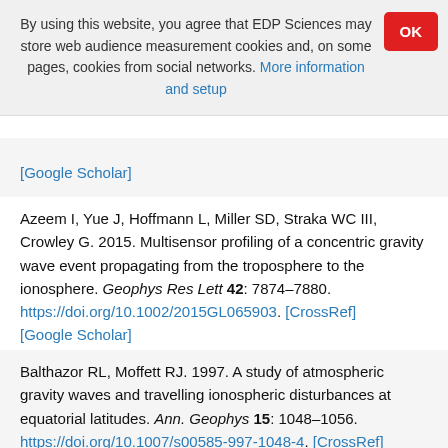By using this website, you agree that EDP Sciences may store web audience measurement cookies and, on some pages, cookies from social networks. More information and setup
[Google Scholar]
Azeem I, Yue J, Hoffmann L, Miller SD, Straka WC III, Crowley G. 2015. Multisensor profiling of a concentric gravity wave event propagating from the troposphere to the ionosphere. Geophys Res Lett 42: 7874–7880. https://doi.org/10.1002/2015GL065903. [CrossRef] [Google Scholar]
Balthazor RL, Moffett RJ. 1997. A study of atmospheric gravity waves and travelling ionospheric disturbances at equatorial latitudes. Ann. Geophys 15: 1048–1056. https://doi.org/10.1007/s00585-997-1048-4. [CrossRef] [Google Scholar]